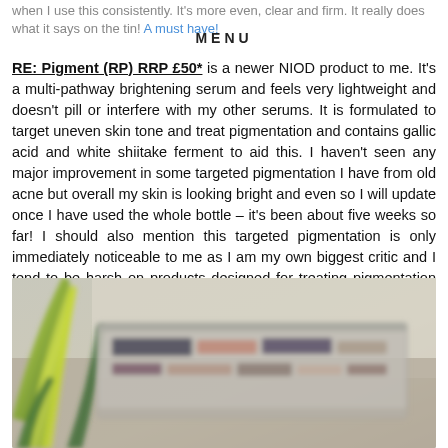when I use this consistently. It's more even, clear and firm. It really does what it says on the tin! A must have!
MENU
RE: Pigment (RP) RRP £50* is a newer NIOD product to me. It's a multi-pathway brightening serum and feels very lightweight and doesn't pill or interfere with my other serums. It is formulated to target uneven skin tone and treat pigmentation and contains gallic acid and white shiitake ferment to aid this. I haven't seen any major improvement in some targeted pigmentation I have from old acne but overall my skin is looking bright and even so I will update once I have used the whole bottle – it's been about five weeks so far! I should also mention this targeted pigmentation is only immediately noticeable to me as I am my own biggest critic and I tend to be harsh on products designed for treating pigmentation as it's one of my biggest skin concerns!
[Figure (photo): A blurred photo showing green plant leaves on the left and a transparent/plastic storage case or tray containing various beauty/skincare products in the center-right.]